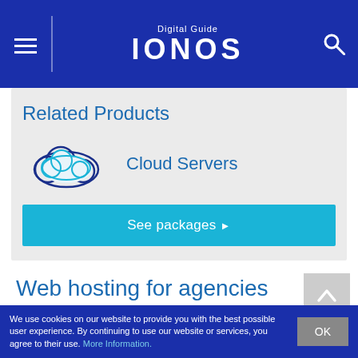Digital Guide IONOS
Related Products
[Figure (illustration): Cloud server icon: a cloud outline with inner blue cloud shape, dark circular border]
Cloud Servers
See packages ▶
Web hosting for agencies
Provide powerful and reliable service to your clients with a web hosting package from IONOS.
We use cookies on our website to provide you with the best possible user experience. By continuing to use our website or services, you agree to their use. More Information.